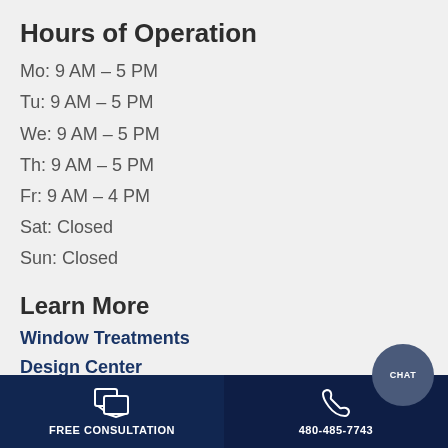Hours of Operation
Mo: 9 AM – 5 PM
Tu: 9 AM – 5 PM
We: 9 AM – 5 PM
Th: 9 AM – 5 PM
Fr: 9 AM – 4 PM
Sat: Closed
Sun: Closed
Learn More
Window Treatments
Design Center
Energy Efficiency
FREE CONSULTATION | 480-485-7743 | CHAT